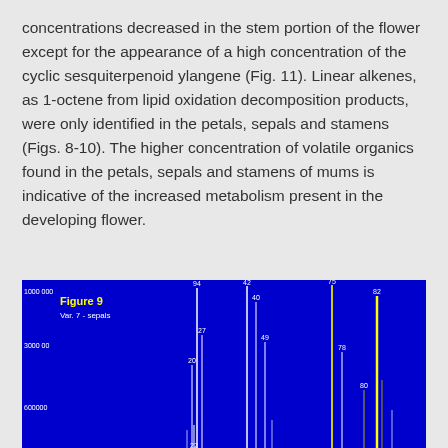concentrations decreased in the stem portion of the flower except for the appearance of a high concentration of the cyclic sesquiterpenoid ylangene (Fig. 11). Linear alkenes, as 1-octene from lipid oxidation decomposition products, were only identified in the petals, sepals and stamens (Figs. 8-10). The higher concentration of volatile organics found in the petals, sepals and stamens of mums is indicative of the increased metabolism present in the developing flower.
[Figure (other): Bar/spectrum chart on blue background labeled Figure 9, Var. 7 - sepals. Y-axis shows values up to 1000000, 300000, 600000. Multiple vertical yellow/white spikes with numbered labels: 94, 42, 75, 40, 82, 27, 49, 78, 20, 80, 22. Chart is partially cropped at bottom.]